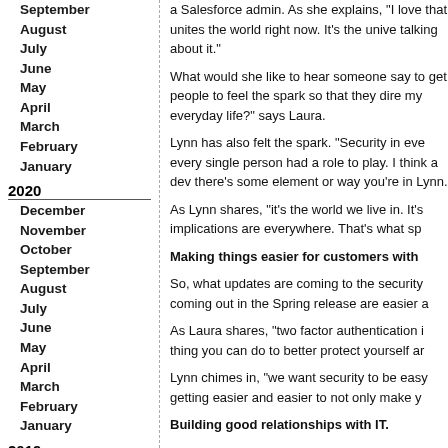September
August
July
June
May
April
March
February
January
2020
December
November
October
September
August
July
June
May
April
March
February
January
2019
December
November
October
September
August
July
June
May
a Salesforce admin. As she explains, "I love that unites the world right now. It's the unive talking about it."
What would she like to hear someone say to get people to feel the spark so that they dire my everyday life?" says Laura.
Lynn has also felt the spark. "Security in eve every single person had a role to play. I think a dev there's some element or way you're in Lynn.
As Lynn shares, "it's the world we live in. It's implications are everywhere. That's what sp
Making things easier for customers with
So, what updates are coming to the security coming out in the Spring release are easier a
As Laura shares, "two factor authentication i thing you can do to better protect yourself ar
Lynn chimes in, "we want security to be easy getting easier and easier to not only make y
Building good relationships with IT.
Lynn says the new updates are "going to ma It makes them have more faith in the securit
Admins can now configure a lot of things de company. "We're trying to come with ways to that relationship, " says Lynn.
Also, as Laura points out, building these rela She adds, "some of these simple configurat